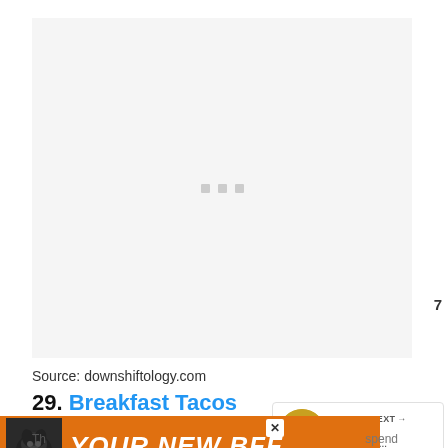[Figure (photo): Large light gray placeholder area for an image, with three small gray square dots in the center indicating loading state]
[Figure (other): Blue circular heart/like button showing a white heart icon, with count '7' below it, and a circular share button below that]
Source: downshiftology.com
[Figure (other): WHAT'S NEXT banner with circular food image thumbnail and text '25+ Easy Vegetarian...']
29. Breakfast Tacos
[Figure (other): Orange advertisement banner with dog image and text 'YOUR NEW BFF']
Th... spend...